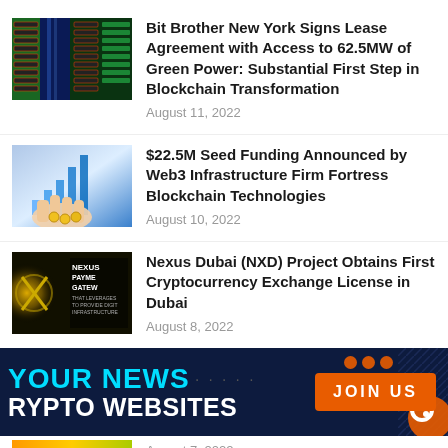[Figure (photo): Server room with green and blue lighting, data center racks]
Bit Brother New York Signs Lease Agreement with Access to 62.5MW of Green Power: Substantial First Step in Blockchain Transformation
August 11, 2022
[Figure (photo): Hand holding coins with financial chart growth background]
$22.5M Seed Funding Announced by Web3 Infrastructure Firm Fortress Blockchain Technologies
August 10, 2022
[Figure (photo): Nexus Payment Gateway logo on dark golden background]
Nexus Dubai (NXD) Project Obtains First Cryptocurrency Exchange License in Dubai
August 8, 2022
[Figure (infographic): Dark navy banner advertisement: YOUR NEWS, CRYPTO WEBSITES, JOIN US button]